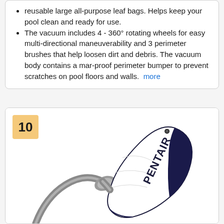reusable large all-purpose leaf bags. Helps keep your pool clean and ready for use.
The vacuum includes 4 - 360° rotating wheels for easy multi-directional maneuverability and 3 perimeter brushes that help loosen dirt and debris. The vacuum body contains a mar-proof perimeter bumper to prevent scratches on pool floors and walls.  more
[Figure (photo): Product photo of a Pentair pool vacuum bag/filter bag — white bag with navy blue Pentair branding and navy trim, attached to a grey curved hose/connector. Ranked #10.]